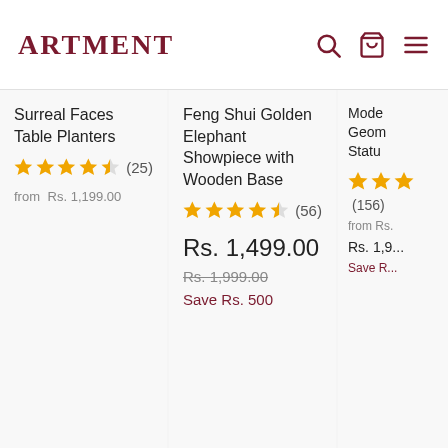ARTMENT
Surreal Faces Table Planters
4.5 stars (25) from Rs. 1,199.00
Feng Shui Golden Elephant Showpiece with Wooden Base
4.5 stars (56) Rs. 1,499.00 Rs. 1,999.00 Save Rs. 500
Mode Geom Statu... 4+ stars (156) from Rs. 1,9... Save R...